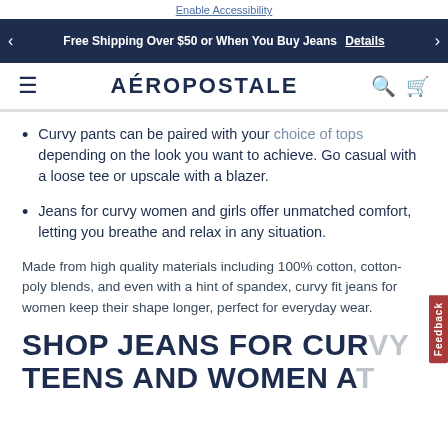Enable Accessibility
Free Shipping Over $50 or When You Buy Jeans  Details
AÉROPOSTALE
Curvy pants can be paired with your choice of tops depending on the look you want to achieve. Go casual with a loose tee or upscale with a blazer.
Jeans for curvy women and girls offer unmatched comfort, letting you breathe and relax in any situation.
Made from high quality materials including 100% cotton, cotton-poly blends, and even with a hint of spandex, curvy fit jeans for women keep their shape longer, perfect for everyday wear.
SHOP JEANS FOR CURVY TEENS AND WOMEN AT